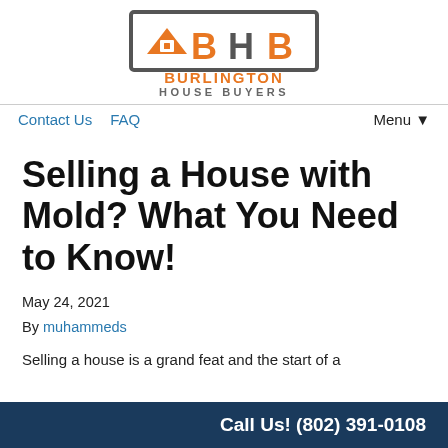[Figure (logo): Burlington House Buyers logo — orange and grey BHB letters in a rectangular border with rooftop graphic, orange BURLINGTON text below, grey HOUSE BUYERS subtitle]
Contact Us   FAQ   Menu ▼
Selling a House with Mold? What You Need to Know!
May 24, 2021
By muhammeds
Selling a house is a grand feat and the start of a
Call Us! (802) 391-0108